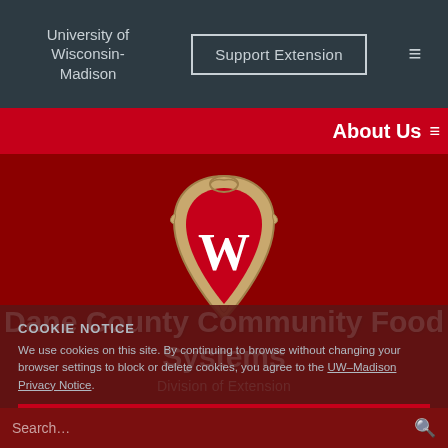University of Wisconsin-Madison
Support Extension
About Us
[Figure (logo): University of Wisconsin-Madison W crest logo, gold/tan outline with red background and white W, on dark red banner]
Dane County Community Food Systems
Division of Extension
COOKIE NOTICE
We use cookies on this site. By continuing to browse without changing your browser settings to block or delete cookies, you agree to the UW–Madison Privacy Notice.
GOT IT!
Search...